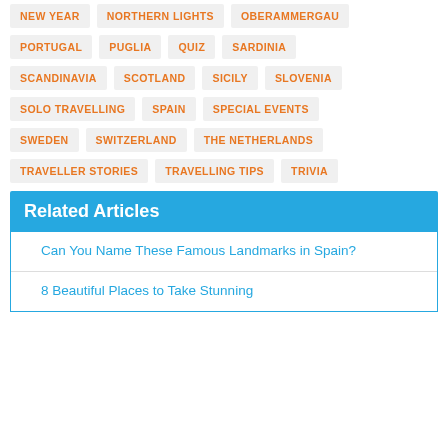NEW YEAR
NORTHERN LIGHTS
OBERAMMERGAU
PORTUGAL
PUGLIA
QUIZ
SARDINIA
SCANDINAVIA
SCOTLAND
SICILY
SLOVENIA
SOLO TRAVELLING
SPAIN
SPECIAL EVENTS
SWEDEN
SWITZERLAND
THE NETHERLANDS
TRAVELLER STORIES
TRAVELLING TIPS
TRIVIA
Related Articles
Can You Name These Famous Landmarks in Spain?
8 Beautiful Places to Take Stunning